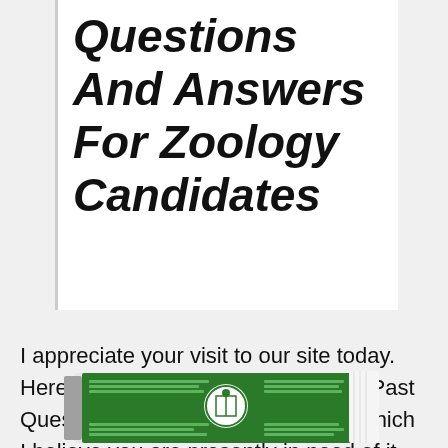Questions And Answers For Zoology Candidates
I appreciate your visit to our site today. Here, we sale KSUSTA Post UTME Past Questions for Zoology Candidates which I believe you are presently in need of it.
[Figure (photo): A booklet/past questions paper with KSUSTA logo and green cover showing text pattern]